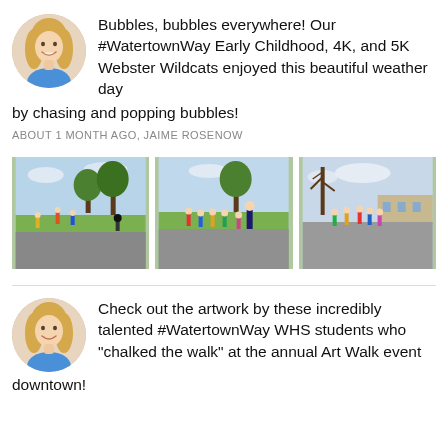[Figure (photo): Circular avatar photo of a smiling blonde woman]
Bubbles, bubbles everywhere! Our #WatertownWay Early Childhood, 4K, and 5K Webster Wildcats enjoyed this beautiful weather day by chasing and popping bubbles!
ABOUT 1 MONTH AGO, JAIME ROSENOW
[Figure (photo): Three photos side by side showing young children playing outside on a school playground on a sunny day, chasing bubbles.]
[Figure (photo): Circular avatar photo of a smiling blonde woman]
Check out the artwork by these incredibly talented #WatertownWay WHS students who "chalked the walk" at the annual Art Walk event downtown!